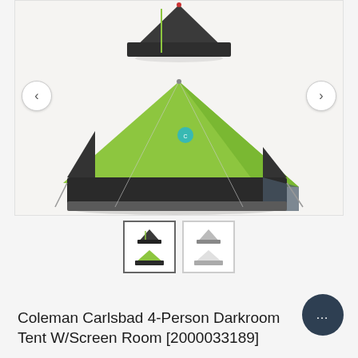[Figure (photo): Product image carousel showing Coleman Carlsbad 4-Person Darkroom Tent. Main view shows a large green and dark gray dome tent with screen room. A smaller dark tent image is visible at the top. Left and right navigation arrows are visible on the sides.]
[Figure (photo): Two thumbnail images below the main carousel. First thumbnail (active, with border) shows two views of the green/dark Coleman tent. Second thumbnail shows two views of a white/gray version of the same tent.]
Coleman Carlsbad 4-Person Darkroom Tent W/Screen Room [2000033189]